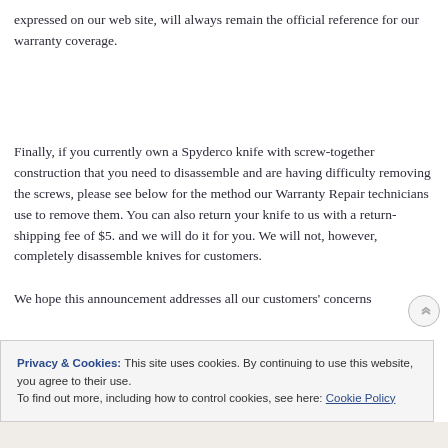expressed on our web site, will always remain the official reference for our warranty coverage.
Finally, if you currently own a Spyderco knife with screw-together construction that you need to disassemble and are having difficulty removing the screws, please see below for the method our Warranty Repair technicians use to remove them. You can also return your knife to us with a return-shipping fee of $5. and we will do it for you. We will not, however, completely disassemble knives for customers.
We hope this announcement addresses all our customers' concerns regarding our warranty coverage.
Privacy & Cookies: This site uses cookies. By continuing to use this website, you agree to their use.
To find out more, including how to control cookies, see here: Cookie Policy